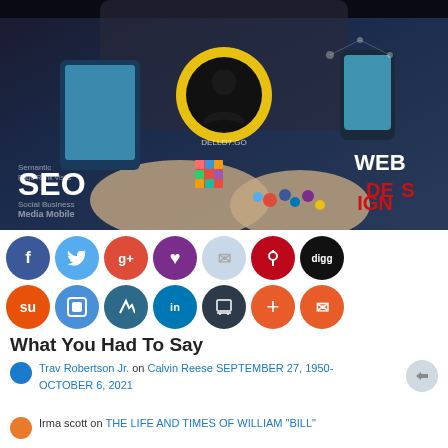[Figure (photo): Hero banner image showing a businessman holding digital devices and technology concepts including SEO, Web Design, social media icons, Rubik's cube, with a logo overlay reading 'DELLO7.GO']
[Figure (infographic): Row of social media share buttons: Facebook (blue), Twitter (light blue), Google+ (red), Heart/Tumblr (purple), Message (light blue), Pinterest (red), Digg (black), StumbleUpon (orange), Square/Flipboard (blue), Edit (dark blue), LinkedIn (blue), Print (dark), Plus (orange), Email (orange), Share (grey)]
What You Had To Say
Trav Robertson Jr. on Calvin Reese SEPTEMBER 27, 1950- OCTOBER 6, 2021
Irma scott on THE LIFE AND TIMES OF WILLIAM "BILL"